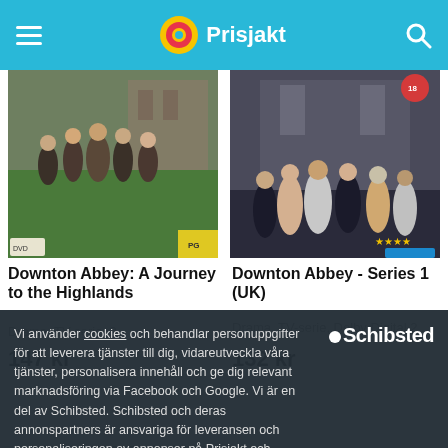Prisjakt
[Figure (photo): Downton Abbey: A Journey to the Highlands DVD cover - group of people in period costumes outdoors]
Downton Abbey: A Journey to the Highlands
Drama, TV-serie, 2
147 kr
[Figure (photo): Downton Abbey - Series 1 (UK) DVD cover - group of people in formal period attire]
Downton Abbey - Series 1 (UK)
Drama, TV-serie, Dolby Digital 2....
132 kr
Vi använder cookies och behandlar personuppgifter för att leverera tjänster till dig, vidareutveckla våra tjänster, personalisera innehåll och ge dig relevant marknadsföring via Facebook och Google. Vi är en del av Schibsted. Schibsted och deras annonspartners är ansvariga för leveransen och personaliseringen av annonser på Prisjakt och andra Schibstedsajter.
Acceptera
Mina val